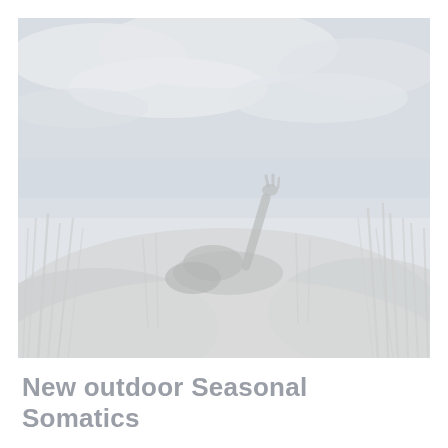[Figure (photo): Faded/washed-out outdoor photograph of a person lying in sand dunes with tall beach grass, raising one hand/arm up toward a cloudy sky. The image has a very light, desaturated, high-key appearance with muted grey-blue tones.]
New outdoor Seasonal Somatics